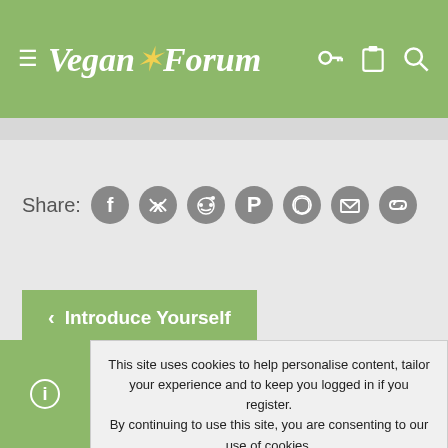Vegan Forum
Share:
Introduce Yourself
About us
This site uses cookies to help personalise content, tailor your experience and to keep you logged in if you register. By continuing to use this site, you are consenting to our use of cookies.
ACCEPT
LEARN MORE...